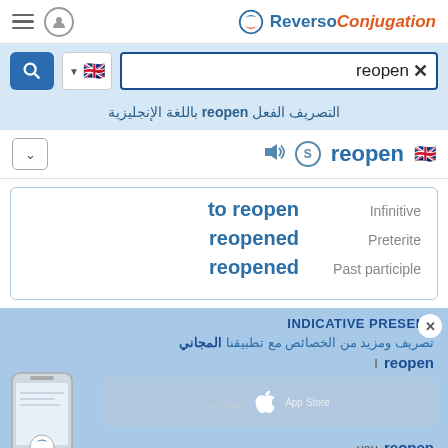Reverso Conjugation
reopen
التصريف الفعل reopen باللغة الإنجليزية
reopen
| Form | Type |
| --- | --- |
| to reopen | Infinitive |
| reopened | Preterite |
| reopened | Past participle |
INDICATIVE PRESENT
تصريف ومزيد من الخصائص مع تطبيقنا المجاني
I reopen
you reopen
he/she/it reopens